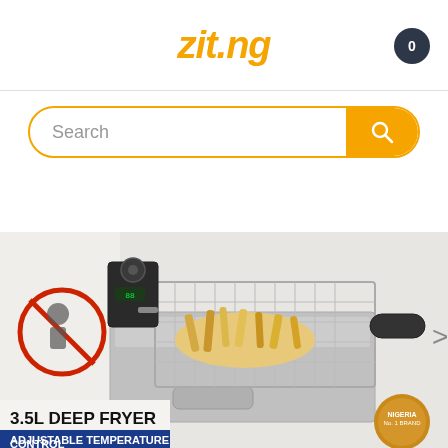zit.ng
[Figure (screenshot): Search bar with orange border and orange search button containing a magnifying glass icon]
[Figure (photo): 3.5L Deep Fryer product image showing a stainless steel deep fryer with a wire basket containing french fries, a black handle, and a digital temperature control unit. Text on box reads: 3.5L DEEP FRYER, ADJUSTABLE TEMPERATURE CONTROL. A navigation arrow pointing right is visible at the right edge.]